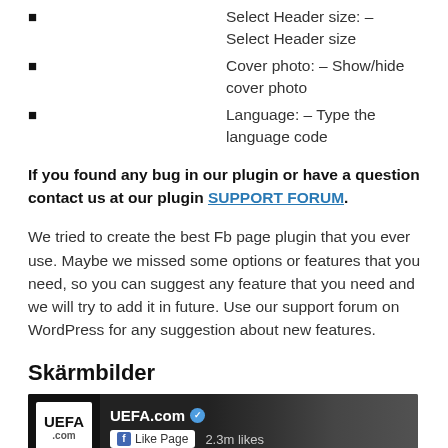Select Header size: – Select Header size
Cover photo: – Show/hide cover photo
Language: – Type the language code
If you found any bug in our plugin or have a question contact us at our plugin SUPPORT FORUM.
We tried to create the best Fb page plugin that you ever use. Maybe we missed some options or features that you need, so you can suggest any feature that you need and we will try to add it in future. Use our support forum on WordPress for any suggestion about new features.
Skärmbilder
[Figure (screenshot): Screenshot of UEFA.com Facebook page plugin showing UEFA logo, Like Page button, and 2.3m likes count on dark background]